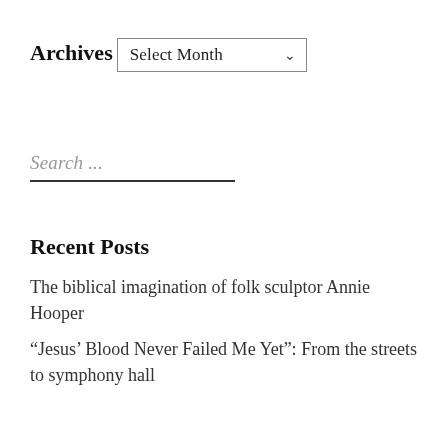Archives
Select Month
Search ...
Recent Posts
The biblical imagination of folk sculptor Annie Hooper
“Jesus’ Blood Never Failed Me Yet”: From the streets to symphony hall